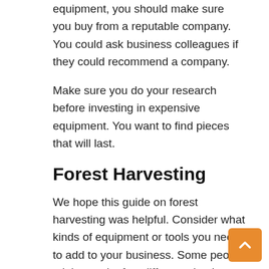equipment, you should make sure you buy from a reputable company. You could ask business colleagues if they could recommend a company.
Make sure you do your research before investing in expensive equipment. You want to find pieces that will last.
Forest Harvesting
We hope this guide on forest harvesting was helpful. Consider what kinds of equipment or tools you need to add to your business. Some people might need a few different-sized yarders or mulchers.